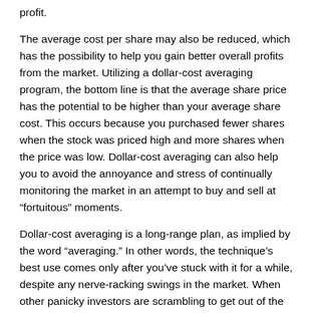profit.
The average cost per share may also be reduced, which has the possibility to help you gain better overall profits from the market. Utilizing a dollar-cost averaging program, the bottom line is that the average share price has the potential to be higher than your average share cost. This occurs because you purchased fewer shares when the stock was priced high and more shares when the price was low. Dollar-cost averaging can also help you to avoid the annoyance and stress of continually monitoring the market in an attempt to buy and sell at “fortuitous” moments.
Dollar-cost averaging is a long-range plan, as implied by the word “averaging.” In other words, the technique’s best use comes only after you’ve stuck with it for a while, despite any nerve-racking swings in the market. When other panicky investors are scrambling to get out of the market because it has declined and to get back into it when the market has risen, you’ll keep investing a specific amount based on the interval you’ve set.